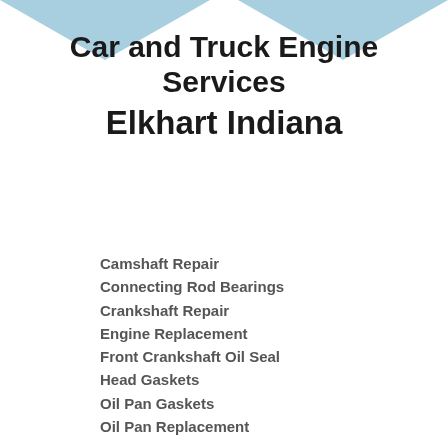[Figure (illustration): Light blue decorative triangular banner/header graphic at the top of the page]
Car and Truck Engine Services Elkhart Indiana
Camshaft Repair
Connecting Rod Bearings
Crankshaft Repair
Engine Replacement
Front Crankshaft Oil Seal
Head Gaskets
Oil Pan Gaskets
Oil Pan Replacement